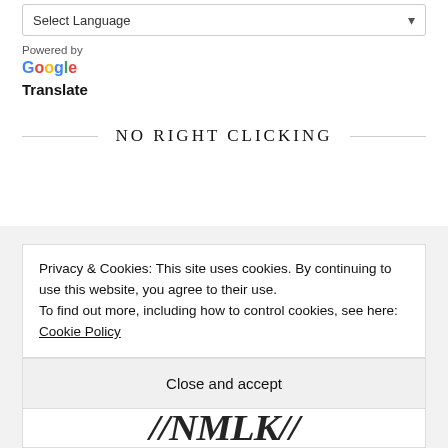Select Language
Powered by
Google
Translate
NO RIGHT CLICKING
Privacy & Cookies: This site uses cookies. By continuing to use this website, you agree to their use.
To find out more, including how to control cookies, see here: Cookie Policy
Close and accept